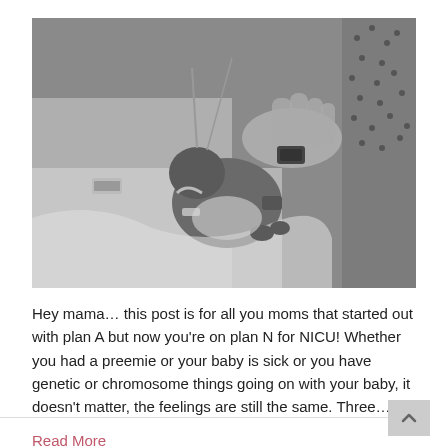[Figure (photo): Black and white photograph of a premature baby in a NICU setting, surrounded by medical equipment and blankets, with an adult hand visible touching the baby. Another person in a patterned top is visible to the right.]
Hey mama… this post is for all you moms that started out with plan A but now you're on plan N for NICU! Whether you had a preemie or your baby is sick or you have genetic or chromosome things going on with your baby, it doesn't matter, the feelings are still the same. Three…
Read More